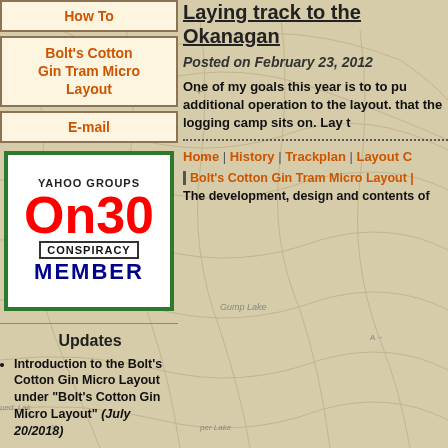[Figure (map): Topographic map background of Okanagan region with terrain, lakes, and contour lines in beige/tan tones]
How To
Bolt's Cotton Gin Tram Micro Layout
E-mail
[Figure (logo): Yahoo Groups On30 Conspiracy Member badge with green border, red On30 text, blue MEMBER text]
Updates
Introduction to the Bolt's Cotton Gin Micro Layout under "Bolt's Cotton Gin Micro Layout" (July 20/2018)
Laying track to the Okanagan
Posted on February 23, 2012
One of my goals this year is to to pu additional operation to the layout. that the logging camp sits on. Lay t
Home | History | Trackplan | Layout C
Bolt's Cotton Gin Tram Micro Layout |
The development, design and contents of